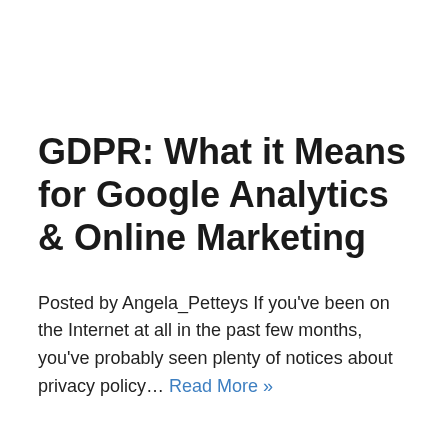GDPR: What it Means for Google Analytics & Online Marketing
Posted by Angela_Petteys If you've been on the Internet at all in the past few months, you've probably seen plenty of notices about privacy policy… Read More »